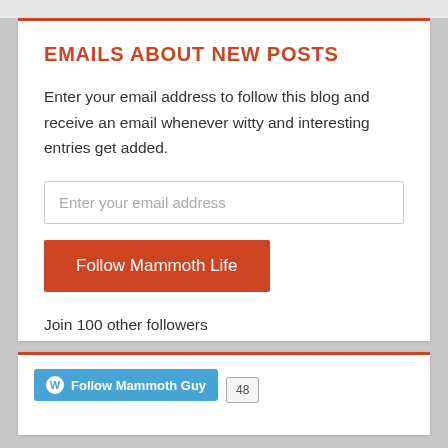EMAILS ABOUT NEW POSTS
Enter your email address to follow this blog and receive an email whenever witty and interesting entries get added.
Enter your email address
Follow Mammoth Life
Join 100 other followers
Follow Mammoth Guy 48